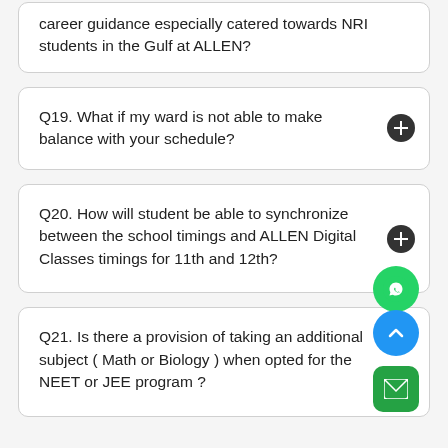career guidance especially catered towards NRI students in the Gulf at ALLEN?
Q19. What if my ward is not able to make balance with your schedule?
Q20. How will student be able to synchronize between the school timings and ALLEN Digital Classes timings for 11th and 12th?
Q21. Is there a provision of taking an additional subject ( Math or Biology ) when opted for the NEET or JEE program ?